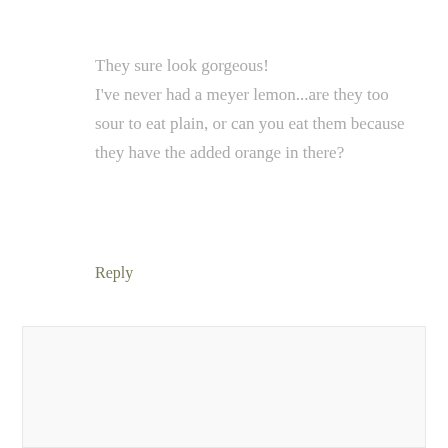They sure look gorgeous! I've never had a meyer lemon...are they too sour to eat plain, or can you eat them because they have the added orange in there?
Reply
[Figure (photo): Portrait photo of a smiling blonde woman named Heather]
HEATHER SAYS
January 14, 2012 at 8:44 am